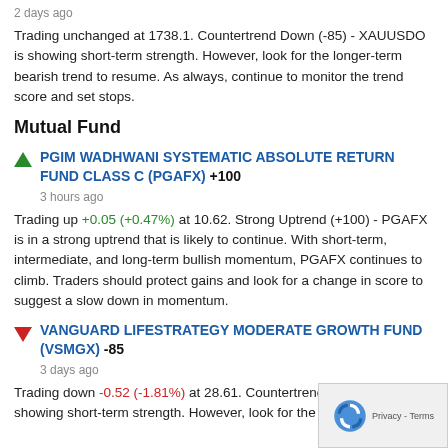2 days ago
Trading unchanged at 1738.1. Countertrend Down (-85) - XAUUSDO is showing short-term strength. However, look for the longer-term bearish trend to resume. As always, continue to monitor the trend score and set stops.
Mutual Fund
PGIM WADHWANI SYSTEMATIC ABSOLUTE RETURN FUND CLASS C (PGAFX) +100
3 hours ago
Trading up +0.05 (+0.47%) at 10.62. Strong Uptrend (+100) - PGAFX is in a strong uptrend that is likely to continue. With short-term, intermediate, and long-term bullish momentum, PGAFX continues to climb. Traders should protect gains and look for a change in score to suggest a slow down in momentum.
VANGUARD LIFESTRATEGY MODERATE GROWTH FUND (VSMGX) -85
3 days ago
Trading down -0.52 (-1.81%) at 28.61. Counterterend Down - VSMGX is showing short-term strength. However, look for the